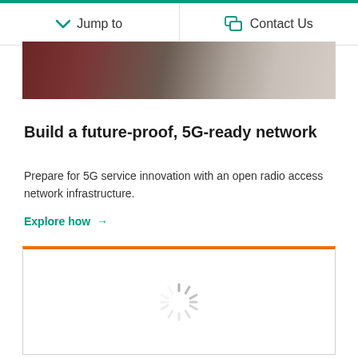Jump to   Contact Us
[Figure (photo): Person in red shirt wearing grey gloves working on electronic or network equipment]
Build a future-proof, 5G-ready network
Prepare for 5G service innovation with an open radio access network infrastructure.
Explore how →
[Figure (other): Loading spinner / content placeholder with orange top border]